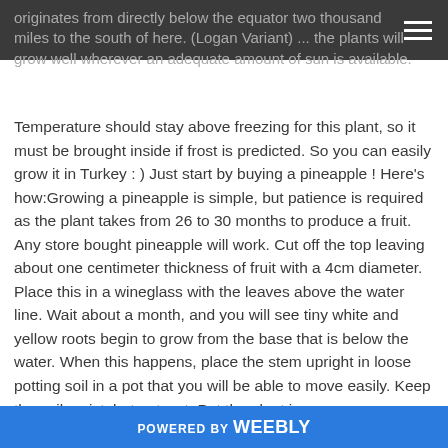originates from directly below the equator two thousand miles to the south of here. (Logan Variant) ... the plants will grow well wherever an adequate amount of sun is available.
Temperature should stay above freezing for this plant, so it must be brought inside if frost is predicted. So you can easily grow it in Turkey : ) Just start by buying a pineapple ! Here's how:Growing a pineapple is simple, but patience is required as the plant takes from 26 to 30 months to produce a fruit.  Any store bought pineapple will work.  Cut off the top leaving about one centimeter thickness of fruit with a 4cm diameter.  Place this in a wineglass with the leaves above the water line.  Wait about a month, and you will see tiny white and yellow roots begin to grow from the base that is below the water.  When this happens, place the stem upright in loose potting soil in a pot that you will be able to move easily.  Keep the soil moist, but not wet.  Put the plant in
POWERED BY weebly